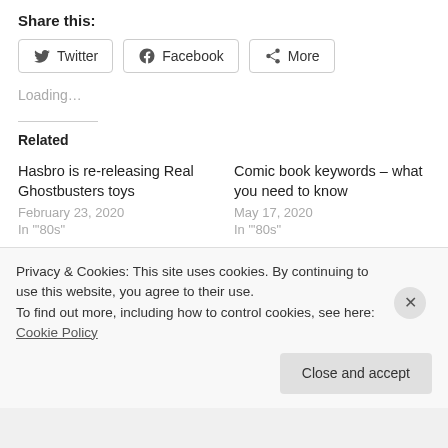Share this:
[Figure (other): Social share buttons: Twitter, Facebook, More]
Loading...
Related
Hasbro is re-releasing Real Ghostbusters toys
February 23, 2020
In "'80s"
Comic book keywords – what you need to know
May 17, 2020
In "'80s"
Review: Thor: Love and
Privacy & Cookies: This site uses cookies. By continuing to use this website, you agree to their use.
To find out more, including how to control cookies, see here: Cookie Policy
Close and accept